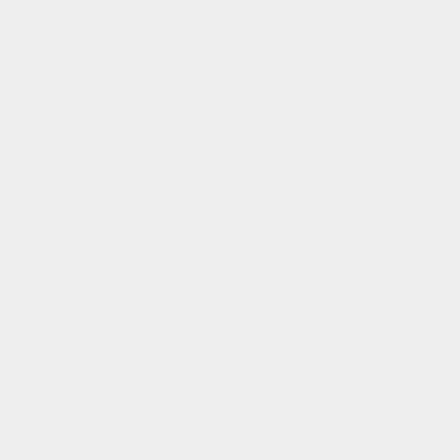Rs. 15,000
5.75
6.00
5.60
5.84
5.63